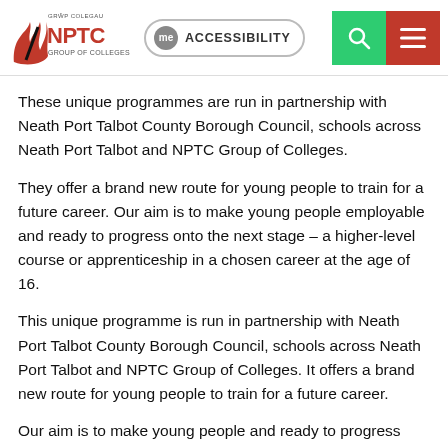[Figure (logo): NPTC Group of Colleges logo with red wave and Welsh text 'GRŴP COLEGAU']
These unique programmes are run in partnership with Neath Port Talbot County Borough Council, schools across Neath Port Talbot and NPTC Group of Colleges.
They offer a brand new route for young people to train for a future career. Our aim is to make young people employable and ready to progress onto the next stage – a higher-level course or apprenticeship in a chosen career at the age of 16.
This unique programme is run in partnership with Neath Port Talbot County Borough Council, schools across Neath Port Talbot and NPTC Group of Colleges. It offers a brand new route for young people to train for a future career.
Our aim is to make young people and ready to progress